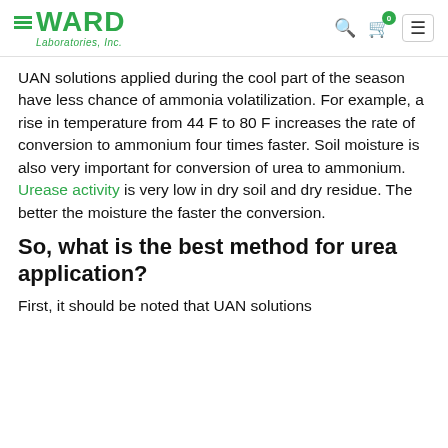WARD Laboratories, Inc.
UAN solutions applied during the cool part of the season have less chance of ammonia volatilization. For example, a rise in temperature from 44 F to 80 F increases the rate of conversion to ammonium four times faster. Soil moisture is also very important for conversion of urea to ammonium. Urease activity is very low in dry soil and dry residue. The better the moisture the faster the conversion.
So, what is the best method for urea application?
First, it should be noted that UAN solutions